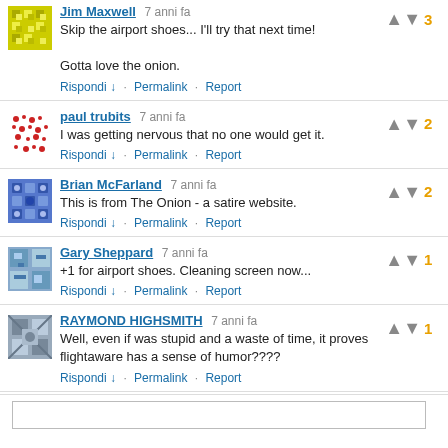Jim Maxwell  7 anni fa
Skip the airport shoes... I'll try that next time!

Gotta love the onion.
Rispondi ↓ · Permalink · Report
Votes: 3
paul trubits  7 anni fa
I was getting nervous that no one would get it.
Rispondi ↓ · Permalink · Report
Votes: 2
Brian McFarland  7 anni fa
This is from The Onion - a satire website.
Rispondi ↓ · Permalink · Report
Votes: 2
Gary Sheppard  7 anni fa
+1 for airport shoes. Cleaning screen now...
Rispondi ↓ · Permalink · Report
Votes: 1
RAYMOND HIGHSMITH  7 anni fa
Well, even if was stupid and a waste of time, it proves flightaware has a sense of humor????
Rispondi ↓ · Permalink · Report
Votes: 1